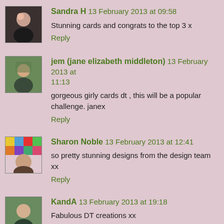Sandra H 13 February 2013 at 09:58
Stunning cards and congrats to the top 3 x
Reply
jem (jane elizabeth middleton) 13 February 2013 at 11:13
gorgeous girly cards dt , this will be a popular challenge. janex
Reply
Sharon Noble 13 February 2013 at 12:41
so pretty stunning designs from the design team xx
Reply
KandA 13 February 2013 at 19:18
Fabulous DT creations xx